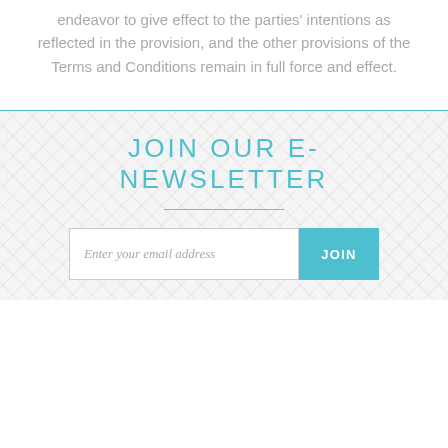endeavor to give effect to the parties' intentions as reflected in the provision, and the other provisions of the Terms and Conditions remain in full force and effect.
JOIN OUR E-NEWSLETTER
Enter your email address  JOIN